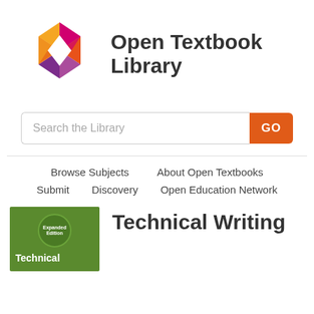[Figure (logo): Open Textbook Library logo with colorful diamond/hexagon shape in orange, pink/magenta, and purple colors, next to bold text reading 'Open Textbook Library']
[Figure (screenshot): Search bar with placeholder text 'Search the Library' and an orange 'GO' button]
Browse Subjects   About Open Textbooks
Submit   Discovery   Open Education Network
[Figure (illustration): Green book cover thumbnail for 'Technical Writing' with a circular badge reading 'Expanded Edition']
Technical Writing